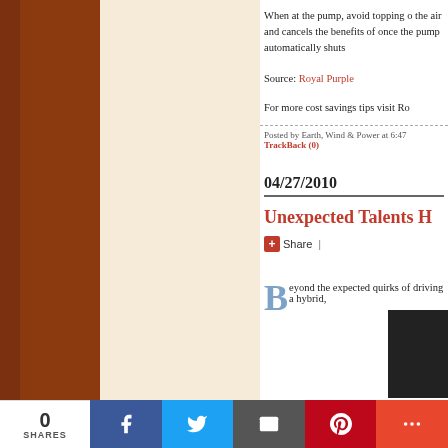When at the pump, avoid topping off the air and cancels the benefits of once the pump automatically shuts
Source: Royal Purple
For more cost savings tips visit Ro
Posted by Earth, Wind & Power at 6:47 TrackBack (0)
04/27/2010
Unexpected Talents H
Share |
Beyond the expected quirks of driving a hybrid, Toyota 2010 AliD...
0 SHARES  [Facebook] [Twitter] [Email] [Pinterest] [More]